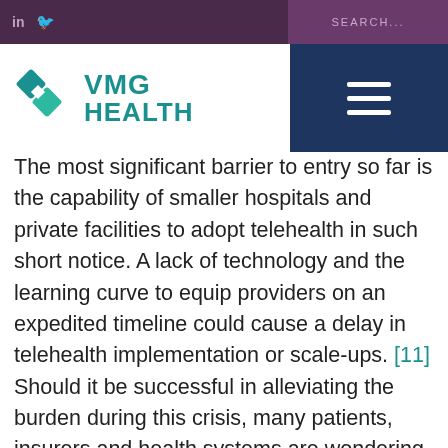VMG Health — navigation bar with LinkedIn, Twitter icons and Search
The most significant barrier to entry so far is the capability of smaller hospitals and private facilities to adopt telehealth in such short notice. A lack of technology and the learning curve to equip providers on an expedited timeline could cause a delay in telehealth implementation or scale-ups. [11] Should it be successful in alleviating the burden during this crisis, many patients, insurers and health systems are wondering whether the temporary telehealth policies being implemented will extend beyond the COVID-19 outbreak, and if so, to what extent.